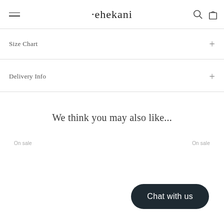·ehekani
Size Chart
Delivery Info
We think you may also like...
On sale
On sale
Chat with us